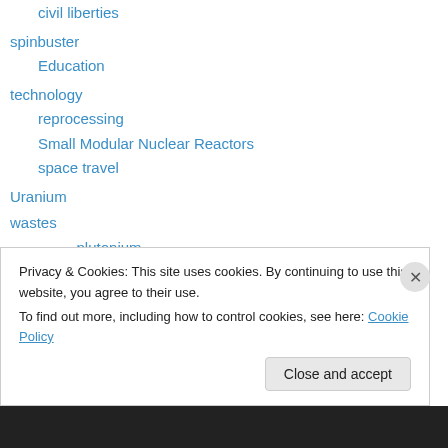civil liberties
spinbuster
Education
technology
reprocessing
Small Modular Nuclear Reactors
space travel
Uranium
wastes
– plutonium
decommission reactor
weapons and war
depleted uranium
Women
Privacy & Cookies: This site uses cookies. By continuing to use this website, you agree to their use.
To find out more, including how to control cookies, see here: Cookie Policy